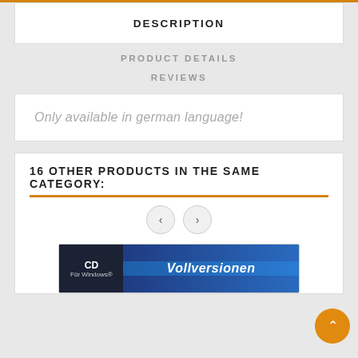DESCRIPTION
PRODUCT DETAILS
REVIEWS
Only available in german language!
16 OTHER PRODUCTS IN THE SAME CATEGORY:
[Figure (screenshot): Navigation arrows (left and right) for product carousel, and a scroll-to-top orange button]
[Figure (screenshot): Product thumbnail showing a CD software package labeled 'Für Windows' with 'Vollversionen' text on a blue gradient background]